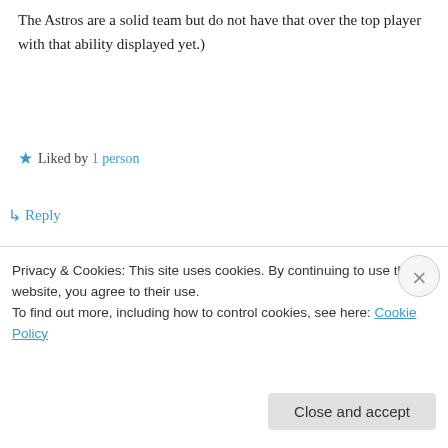The Astros are a solid team but do not have that over the top player with that ability displayed yet.)
Liked by 1 person
↳ Reply
uncleknuckle on January 11, 2016 at 1:38 pm
Good point 45', McCullers didn't get too many calls last year.
Privacy & Cookies: This site uses cookies. By continuing to use this website, you agree to their use.
To find out more, including how to control cookies, see here: Cookie Policy